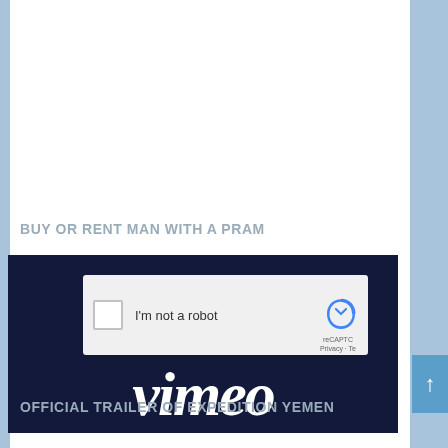BUY OR RENT MAN WITH A PRAM
[Figure (screenshot): Vimeo video embed showing a reCAPTCHA 'I'm not a robot' overlay on a dark navy background with the Vimeo logo in white italic text at the bottom]
OFFICIAL TRAILER OF EXPEDITION YEMEN